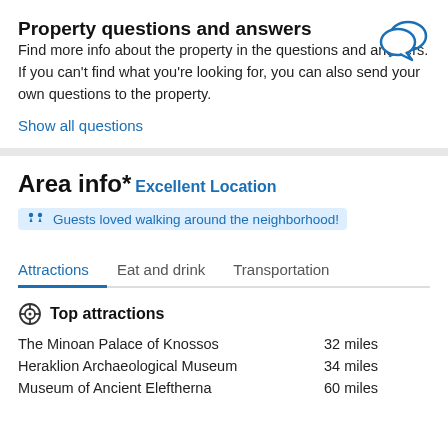Property questions and answers
Find more info about the property in the questions and answers. If you can't find what you're looking for, you can also send your own questions to the property.
Show all questions
Area info*
Excellent Location
Guests loved walking around the neighborhood!
Attractions	Eat and drink	Transportation
Top attractions
The Minoan Palace of Knossos  32 miles
Heraklion Archaeological Museum  34 miles
Museum of Ancient Eleftherna  60 miles